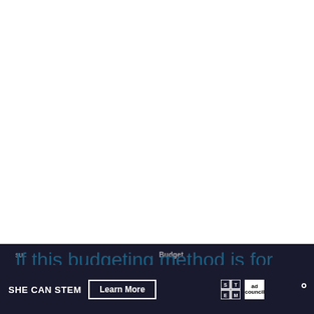[Figure (illustration): White/blank upper area of the page, appears to be a mostly empty document page]
If this budgeting method is for you then be
SHE CAN STEM  Learn More  [STEM logo] [Ad Council logo] [logo]